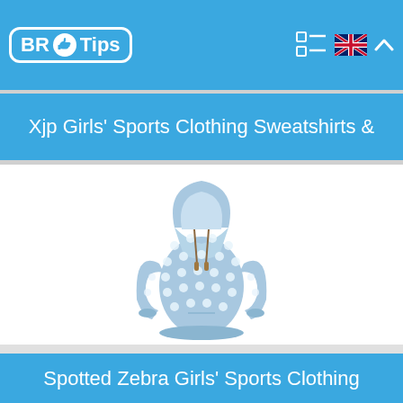BR Tips
Xjp Girls' Sports Clothing Sweatshirts &
[Figure (photo): Light blue polka-dot hoodie sweatshirt with white star/dot pattern, drawstring hood, and brown drawstring tips]
Spotted Zebra Girls' Sports Clothing